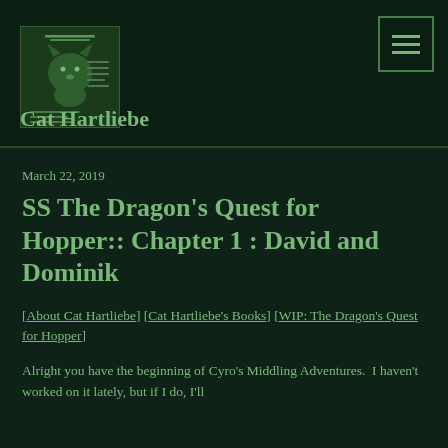[Figure (logo): Cat Hartliebe website logo — green illustration of a cat with text]
Cat Hartliebe
March 22, 2019
SS The Dragon's Quest for Hopper:: Chapter 1 : David and Dominik
[About Cat Hartliebe] [Cat Hartliebe's Books] [WIP: The Dragon's Quest for Hopper]
Alright you have the beginning of Cyro's Middling Adventures.  I haven't worked on it lately, but if I do, I'll